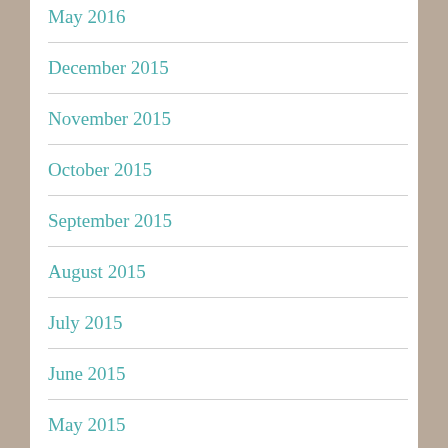May 2016
December 2015
November 2015
October 2015
September 2015
August 2015
July 2015
June 2015
May 2015
April 2015
March 2015